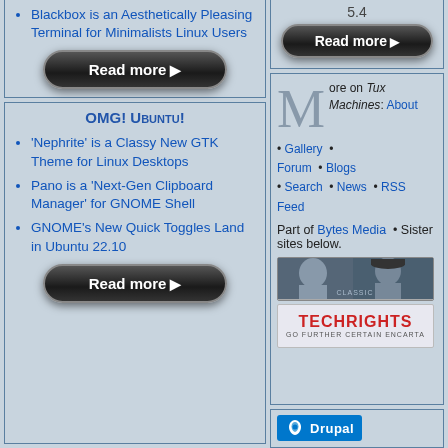Blackbox is an Aesthetically Pleasing Terminal for Minimalists Linux Users
[Figure (screenshot): Read more button (dark rounded pill button with white text and play arrow)]
OMG! Ubuntu!
'Nephrite' is a Classy New GTK Theme for Linux Desktops
Pano is a 'Next-Gen Clipboard Manager' for GNOME Shell
GNOME's New Quick Toggles Land in Ubuntu 22.10
[Figure (screenshot): Read more button (dark rounded pill button with white text and play arrow)]
5.4
[Figure (screenshot): Read more button (dark rounded pill button with white text and play arrow) - right column version]
More on Tux Machines: About • Gallery • Forum • Blogs • Search • News • RSS Feed
Part of Bytes Media • Sister sites below.
[Figure (photo): Two men photo banner (Mecurlee style banner)]
[Figure (logo): TECHRIGHTS logo banner]
[Figure (logo): Drupal badge]